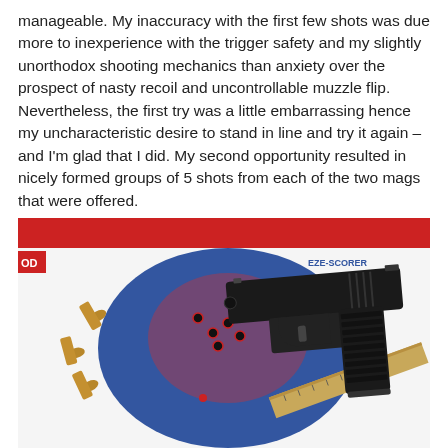manageable. My inaccuracy with the first few shots was due more to inexperience with the trigger safety and my slightly unorthodox shooting mechanics than anxiety over the prospect of nasty recoil and uncontrollable muzzle flip. Nevertheless, the first try was a little embarrassing hence my uncharacteristic desire to stand in line and try it again – and I'm glad that I did. My second opportunity resulted in nicely formed groups of 5 shots from each of the two mags that were offered.
[Figure (photo): A black semi-automatic pistol (Springfield XD-S style) resting on a shooting target with bullet holes visible, alongside spent bullet casings and a wooden ruler, on a red, white, and blue background with an EZE-SCORER target visible.]